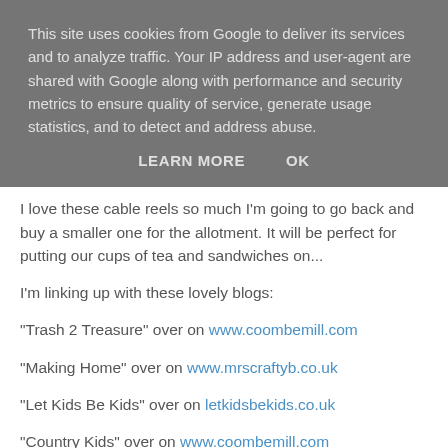This site uses cookies from Google to deliver its services and to analyze traffic. Your IP address and user-agent are shared with Google along with performance and security metrics to ensure quality of service, generate usage statistics, and to detect and address abuse.
LEARN MORE    OK
I love these cable reels so much I'm going to go back and buy a smaller one for the allotment. It will be perfect for putting our cups of tea and sandwiches on...
I'm linking up with these lovely blogs:
"Trash 2 Treasure" over on www.coombemill.com
"Making Home" over on www.mrscraftyb.co.uk
"Let Kids Be Kids" over on letkidsbekids.co.uk
"Country Kids" over on www.coombemill.com
"Sweet Inspiration" over on repurposingjunkie.com